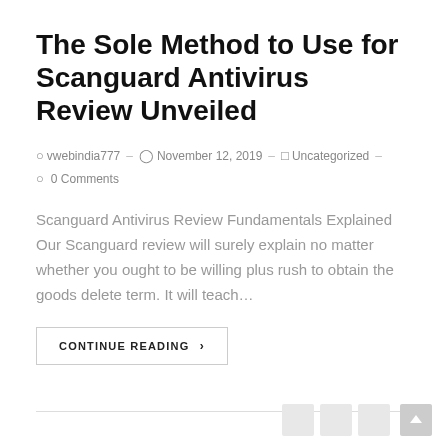The Sole Method to Use for Scanguard Antivirus Review Unveiled
vwebindia777  -  November 12, 2019  -  Uncategorized  -  0 Comments
Scanguard Antivirus Review Fundamentals Explained Our Scanguard review will surely explain no matter whether you ought to be willing plus rush to obtain the goods delete term. It will teach...
CONTINUE READING  ›